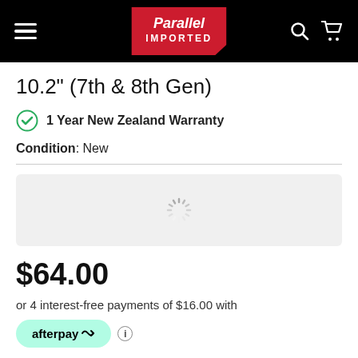Parallel Imported
10.2" (7th & 8th Gen)
1 Year New Zealand Warranty
Condition: New
[Figure (other): Loading spinner / grey placeholder box showing a spinning loader icon]
$64.00
or 4 interest-free payments of $16.00 with
afterpay